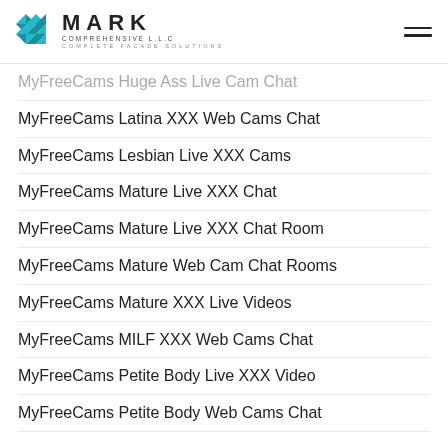MARK COMPREHENSIVE LLC — COMPLETE FACADE SOLUTIONS
MyFreeCams Huge Ass Live Cam Chat
MyFreeCams Latina XXX Web Cams Chat
MyFreeCams Lesbian Live XXX Cams
MyFreeCams Mature Live XXX Chat
MyFreeCams Mature Live XXX Chat Room
MyFreeCams Mature Web Cam Chat Rooms
MyFreeCams Mature XXX Live Videos
MyFreeCams MILF XXX Web Cams Chat
MyFreeCams Petite Body Live XXX Video
MyFreeCams Petite Body Web Cams Chat